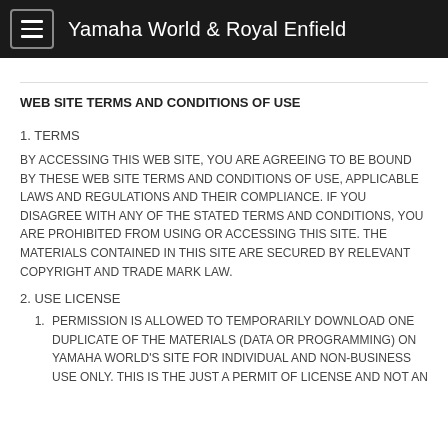Yamaha World & Royal Enfield
WEB SITE TERMS AND CONDITIONS OF USE
1. TERMS
BY ACCESSING THIS WEB SITE, YOU ARE AGREEING TO BE BOUND BY THESE WEB SITE TERMS AND CONDITIONS OF USE, APPLICABLE LAWS AND REGULATIONS AND THEIR COMPLIANCE. IF YOU DISAGREE WITH ANY OF THE STATED TERMS AND CONDITIONS, YOU ARE PROHIBITED FROM USING OR ACCESSING THIS SITE. THE MATERIALS CONTAINED IN THIS SITE ARE SECURED BY RELEVANT COPYRIGHT AND TRADE MARK LAW.
2. USE LICENSE
1. PERMISSION IS ALLOWED TO TEMPORARILY DOWNLOAD ONE DUPLICATE OF THE MATERIALS (DATA OR PROGRAMMING) ON YAMAHA WORLD'S SITE FOR INDIVIDUAL AND NON-BUSINESS USE ONLY. THIS IS THE JUST A PERMIT OF LICENSE AND NOT AN